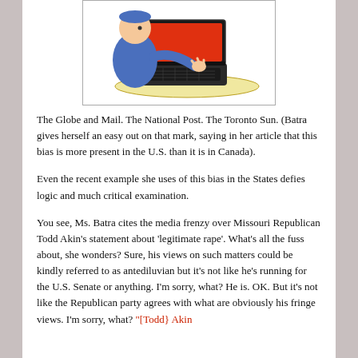[Figure (illustration): Cartoon illustration of a person sitting at a laptop computer, wearing a blue outfit, with the laptop screen glowing red/orange.]
The Globe and Mail. The National Post. The Toronto Sun. (Batra gives herself an easy out on that mark, saying in her article that this bias is more present in the U.S. than it is in Canada).
Even the recent example she uses of this bias in the States defies logic and much critical examination.
You see, Ms. Batra cites the media frenzy over Missouri Republican Todd Akin's statement about 'legitimate rape'. What's all the fuss about, she wonders? Sure, his views on such matters could be kindly referred to as antediluvian but it's not like he's running for the U.S. Senate or anything. I'm sorry, what? He is. OK. But it's not like the Republican party agrees with what are obviously his fringe views. I'm sorry, what? "[Todd} Akin